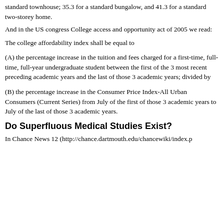standard townhouse; 35.3 for a standard bungalow, and 41.3 for a standard two-storey home.
And in the US congress College access and opportunity act of 2005 we read:
The college affordability index shall be equal to
(A) the percentage increase in the tuition and fees charged for a first-time, full-time, full-year undergraduate student between the first of the 3 most recent preceding academic years and the last of those 3 academic years; divided by
(B) the percentage increase in the Consumer Price Index-All Urban Consumers (Current Series) from July of the first of those 3 academic years to July of the last of those 3 academic years.
Do Superfluous Medical Studies Exist?
In Chance News 12 (http://chance.dartmouth.edu/chancewiki/index.p